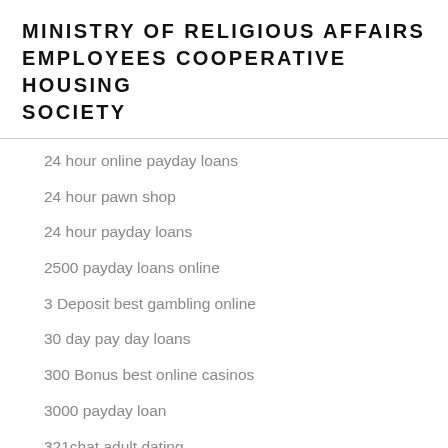MINISTRY OF RELIGIOUS AFFAIRS EMPLOYEES COOPERATIVE HOUSING SOCIETY
24 hour online payday loans
24 hour pawn shop
24 hour payday loans
2500 payday loans online
3 Deposit best gambling online
30 day pay day loans
300 Bonus best online casinos
3000 payday loan
321chat adult dating
321chat cs review